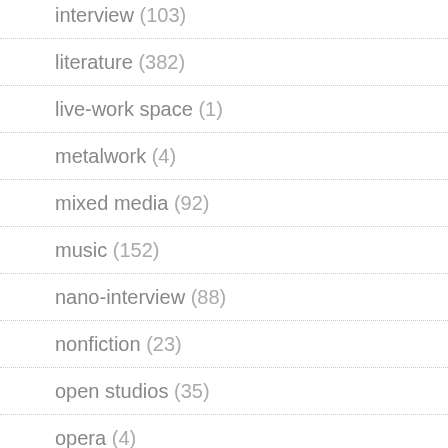interview (103)
literature (382)
live-work space (1)
metalwork (4)
mixed media (92)
music (152)
nano-interview (88)
nonfiction (23)
open studios (35)
opera (4)
our events (44)
our exhibitions (56)